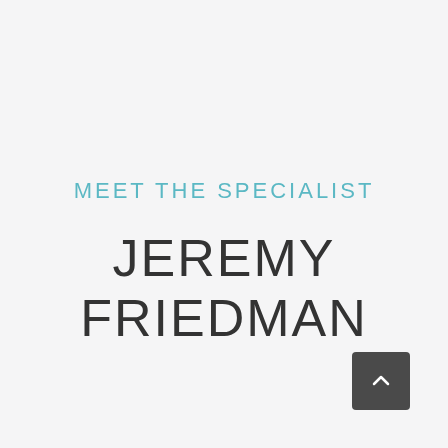MEET THE SPECIALIST
JEREMY FRIEDMAN
[Figure (other): Dark grey rounded square button with upward-pointing chevron arrow icon]